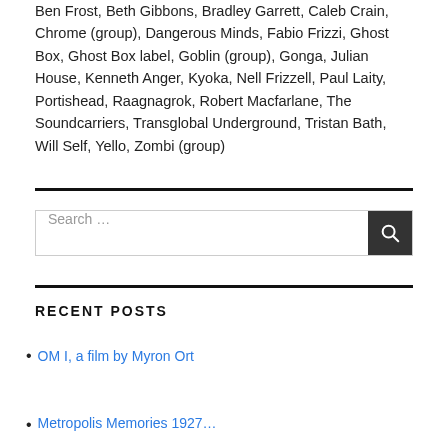Ben Frost, Beth Gibbons, Bradley Garrett, Caleb Crain, Chrome (group), Dangerous Minds, Fabio Frizzi, Ghost Box, Ghost Box label, Goblin (group), Gonga, Julian House, Kenneth Anger, Kyoka, Nell Frizzell, Paul Laity, Portishead, Raagnagrok, Robert Macfarlane, The Soundcarriers, Transglobal Underground, Tristan Bath, Will Self, Yello, Zombi (group)
[Figure (other): Search box with text input field labeled 'Search …' and a dark search button with magnifying glass icon]
RECENT POSTS
OM I, a film by Myron Ort
Metropolis Memories 1927…